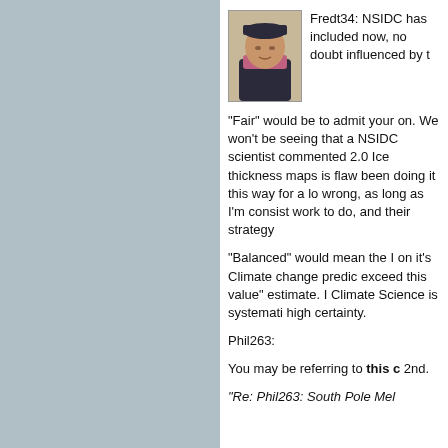[Figure (photo): Thumbnail avatar photo of a person wearing winter clothing and a hat, with a scarf]
Fredt34: NSIDC has included now, no doubt influenced by t
"Fair" would be to admit your on. We won't be seeing that a NSIDC scientist commented 2.0 Ice thickness maps is flaw been doing it this way for a lo wrong, as long as I'm consist work to do, and their strategy
"Balanced" would mean the I on it's Climate change predic exceed this value" estimate. I Climate Science is systemati high certainty.
Phil263:
You may be referring to this c 2nd.
"Re: Phil263: South Pole Mel